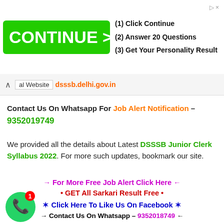[Figure (infographic): Advertisement banner with green CONTINUE > button and steps: (1) Click Continue, (2) Answer 20 Questions, (3) Get Your Personality Result]
al Website dsssb.delhi.gov.in
Contact Us On Whatsapp For Job Alert Notification – 9352019749
We provided all the details about Latest DSSSB Junior Clerk Syllabus 2022. For more such updates, bookmark our site.
→ For More Free Job Alert Click Here ←
• GET All Sarkari Result Free •
✶ Click Here To Like Us On Facebook ✶
→ Contact Us On Whatsapp – 9352018749 ←
[Figure (illustration): WhatsApp icon - green circle with phone handset, notification badge showing 1]